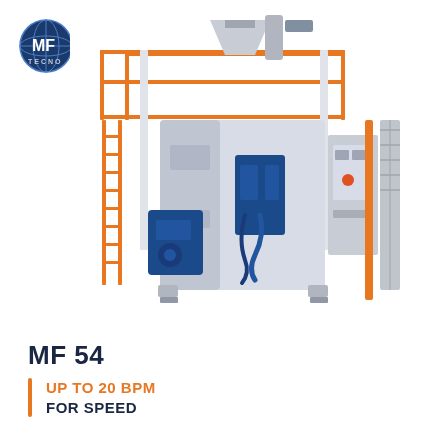[Figure (logo): MF Tecno circular logo with globe and company name in blue and silver]
[Figure (photo): Industrial packaging machine MF 54 with orange safety railing/platform on top, white and blue machine body, blue mechanical components, and orange access ladder on the left side]
MF 54
UP TO 20 BPM
FOR SPEED